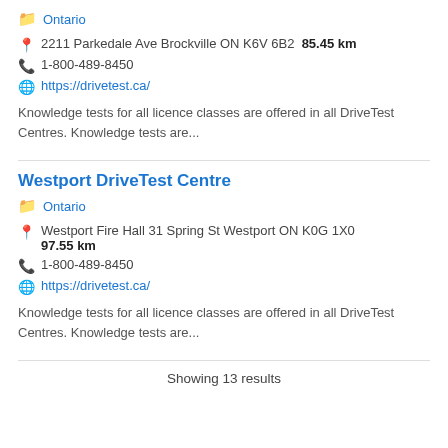Ontario
2211 Parkedale Ave Brockville ON K6V 6B2  85.45 km
1-800-489-8450
https://drivetest.ca/
Knowledge tests for all licence classes are offered in all DriveTest Centres. Knowledge tests are...
Westport DriveTest Centre
Ontario
Westport Fire Hall 31 Spring St Westport ON K0G 1X0  97.55 km
1-800-489-8450
https://drivetest.ca/
Knowledge tests for all licence classes are offered in all DriveTest Centres. Knowledge tests are...
Showing 13 results